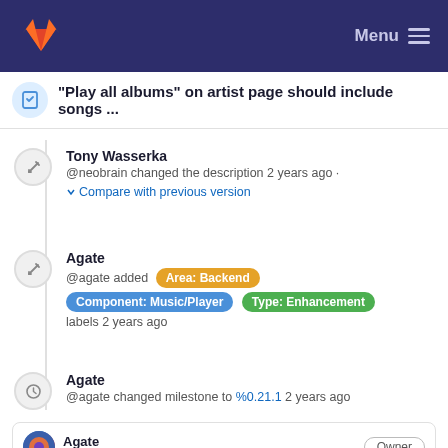Menu
"Play all albums" on artist page should include songs ...
Tony Wasserka
@neobrain changed the description 2 years ago · Compare with previous version
Agate
@agate added Area: Backend Component: Music/Player Type: Enhancement labels 2 years ago
Agate
@agate changed milestone to %0.21.1 2 years ago
Agate
@agate 2 years ago
Thank you for the detailed bug report, let's fix that!